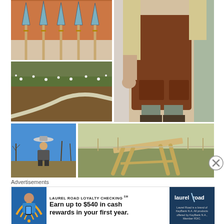[Figure (photo): Grid of 5 photos: top-left shows decorative spear/arrow heads leaning against a wall; top-right shows a person wearing a brown leather apron; middle-left shows a garden hose on brown grass/mulch; bottom-left shows a man in a hat standing outdoors against a blue sky; bottom-right shows a wooden sawhorse or trestle on grass.]
[Figure (other): Close button (X in a circle) on the right side]
Advertisements
[Figure (screenshot): Advertisement banner: LAUREL ROAD LOYALTY CHECKING. Earn up to $540 in cash rewards in your first year. Laurel Road logo on the right with text: Laurel Road is a brand of KeyBank N.A. All products offered by KeyBank N.A., Member FDIC.]